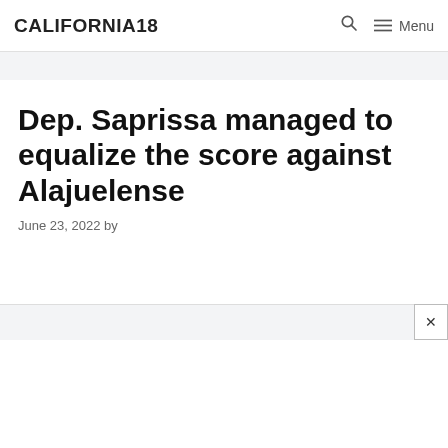CALIFORNIA18
Dep. Saprissa managed to equalize the score against Alajuelense
June 23, 2022 by